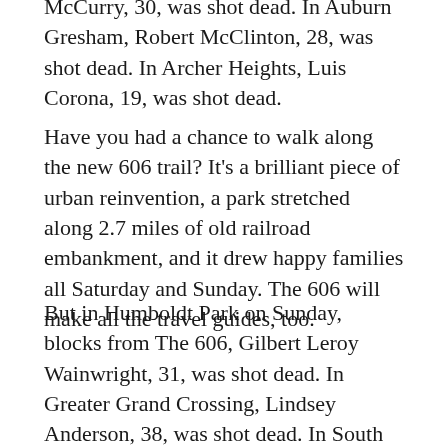McCurry, 30, was shot dead. In Auburn Gresham, Robert McClinton, 28, was shot dead. In Archer Heights, Luis Corona, 19, was shot dead.
Have you had a chance to walk along the new 606 trail? It’s a brilliant piece of urban reinvention, a park stretched along 2.7 miles of old railroad embankment, and it drew happy families all Saturday and Sunday. The 606 will make all the travel guides, too.
But in Humboldt Park on Sunday, blocks from The 606, Gilbert Leroy Wainwright, 31, was shot dead. In Greater Grand Crossing, Lindsey Anderson, 38, was shot dead. In South Deering, Clara Gonzalez, 31, was shot dead. On the Near West Side, Raqkown Ricks, 19, was shot dead. In Old Town, Edwin and Edward Bryant, 17-year-